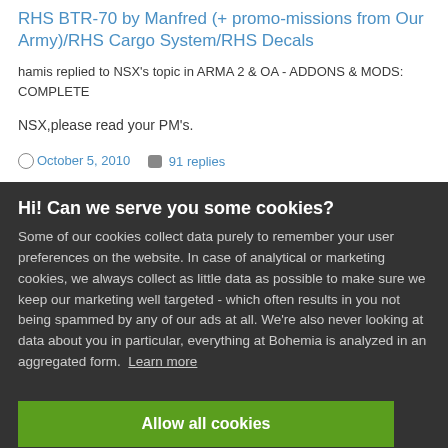RHS BTR-70 by Manfred (+ promo-missions from Our Army)/RHS Cargo System/RHS Decals
hamis replied to NSX's topic in ARMA 2 & OA - ADDONS & MODS: COMPLETE
NSX,please read your PM's.
October 5, 2010   91 replies
Hi! Can we serve you some cookies?
Some of our cookies collect data purely to remember your user preferences on the website. In case of analytical or marketing cookies, we always collect as little data as possible to make sure we keep our marketing well targeted - which often results in you not being spammed by any of our ads at all. We're also never looking at data about you in particular, everything at Bohemia is analyzed in an aggregated form.  Learn more
Allow all cookies
I want more options